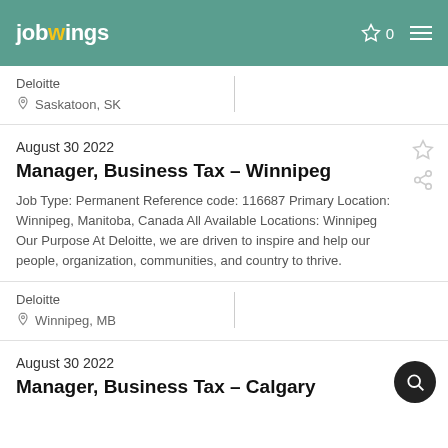jobwings
Deloitte
Saskatoon, SK
August 30 2022
Manager, Business Tax – Winnipeg
Job Type: Permanent Reference code: 116687 Primary Location: Winnipeg, Manitoba, Canada All Available Locations: Winnipeg Our Purpose At Deloitte, we are driven to inspire and help our people, organization, communities, and country to thrive.
Deloitte
Winnipeg, MB
August 30 2022
Manager, Business Tax – Calgary